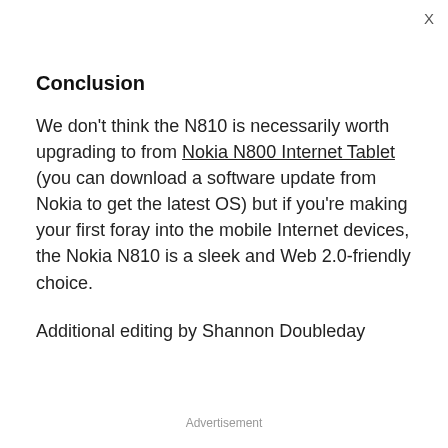X
Conclusion
We don't think the N810 is necessarily worth upgrading to from Nokia N800 Internet Tablet (you can download a software update from Nokia to get the latest OS) but if you're making your first foray into the mobile Internet devices, the Nokia N810 is a sleek and Web 2.0-friendly choice.
Additional editing by Shannon Doubleday
Advertisement